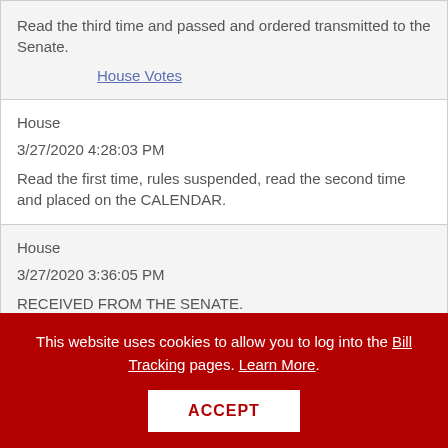Read the third time and passed and ordered transmitted to the Senate.
House Votes
House
3/27/2020 4:28:03 PM
Read the first time, rules suspended, read the second time and placed on the CALENDAR.
House
3/27/2020 3:36:05 PM
RECEIVED FROM THE SENATE.
This website uses cookies to allow you to log into the Bill Tracking pages. Learn More.
ACCEPT